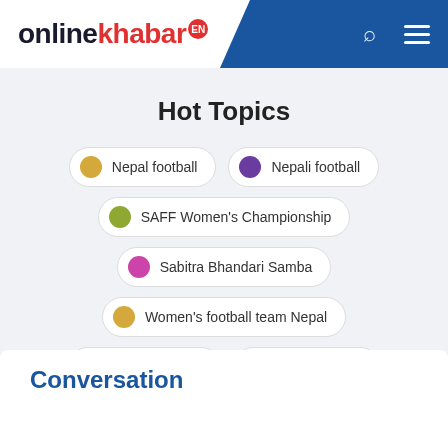[Figure (logo): onlinekhabar EN logo - black and red text with EN badge in red circle]
Hot Topics
Nepal football
Nepali football
SAFF Women's Championship
Sabitra Bhandari Samba
Women's football team Nepal
Elephant trade
Kumar Thapa
Conversation